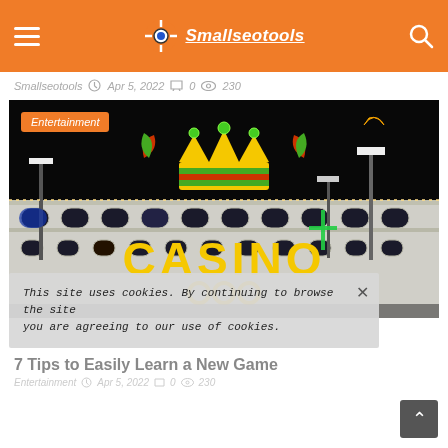Smallseotools - navigation header with logo and search
Smallseotools  Apr 5, 2022  0  230
[Figure (photo): Casino building at night with illuminated CASINO sign and decorative crown, with an Entertainment badge overlay in the top-left corner]
This site uses cookies. By continuing to browse the site you are agreeing to our use of cookies.
7 Tips to Easily Learn a New Game
Entertainment  Apr 5, 2022  0  230